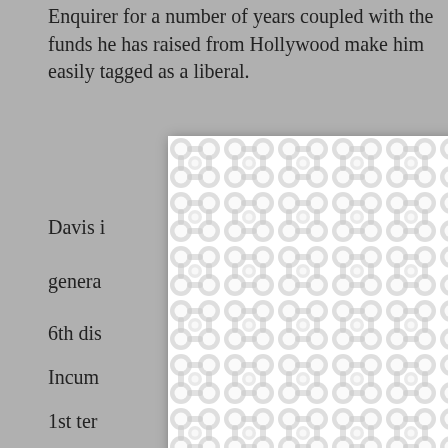Enquirer for a number of years coupled with the funds he has raised from Hollywood make him easily tagged as a liberal.
[Figure (screenshot): A modal/popup overlay with a decorative chain-link or bubble pattern background and an X close button in the top right corner, partially obscuring the underlying text content.]
Davis i[...] the genera[...]
6th dis[...]
Incum[...]
1st ter[...]
Outloc[...]
Chandler, the former state attorney general, won this seat in a Feb. 17 special election to replace Rep. Ernie Fletcher (R), who was elected governor in November 2003.